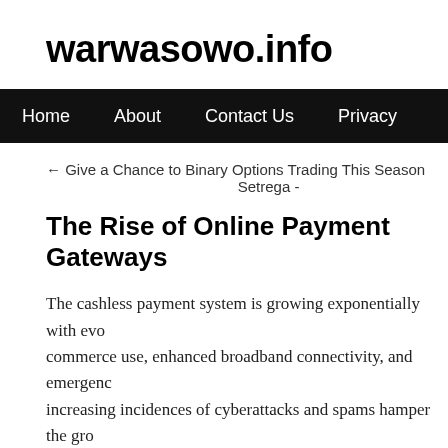warwasowo.info
Home  About  Contact Us  Privacy
← Give a Chance to Binary Options Trading This Season    Setrega -
The Rise of Online Payment Gateways
The cashless payment system is growing exponentially with evo commerce use, enhanced broadband connectivity, and emergenc increasing incidences of cyberattacks and spams hamper the gr will it continue to grow at a rapid rate?
The global digital payment industry is expected to hit the USD6 around a 40% jump in two years. The cashless payment method breaking innovations such as mobile wallets, peer-to-peer (P2P)